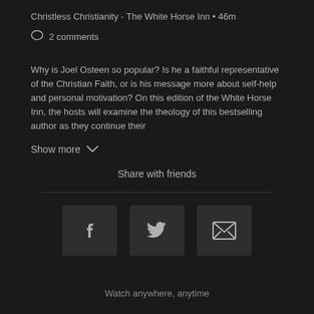Christless Christianity - The White Horse Inn • 46m
2 comments
Why is Joel Osteen so popular? Is he a faithful representative of the Christian Faith, or is his message more about self-help and personal motivation? On this edition of the White Horse Inn, the hosts will examine the theology of this bestselling author as they continue their
Show more
Share with friends
[Figure (other): Three social sharing buttons: Facebook (f icon), Twitter (bird icon), Email (envelope icon)]
Watch anywhere, anytime